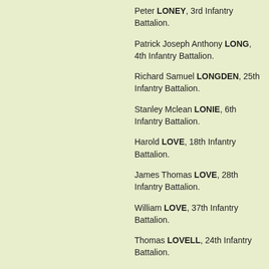Peter LONEY, 3rd Infantry Battalion.
Patrick Joseph Anthony LONG, 4th Infantry Battalion.
Richard Samuel LONGDEN, 25th Infantry Battalion.
Stanley Mclean LONIE, 6th Infantry Battalion.
Harold LOVE, 18th Infantry Battalion.
James Thomas LOVE, 28th Infantry Battalion.
William LOVE, 37th Infantry Battalion.
Thomas LOVELL, 24th Infantry Battalion.
Harry LUDERS, 1st Infantry Battalion.
Leonard James LUKEY, 8th Infantry Battalion.
Victor LUNDY, 21st Infantry